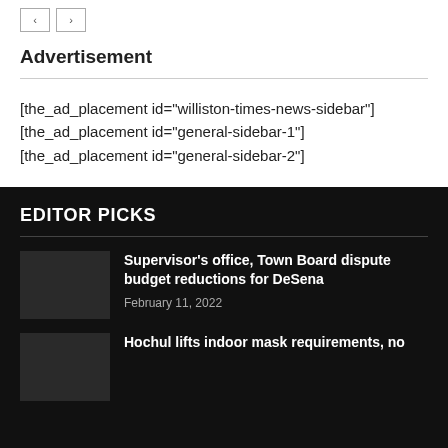← →
Advertisement
[the_ad_placement id="williston-times-news-sidebar"] [the_ad_placement id="general-sidebar-1"] [the_ad_placement id="general-sidebar-2"]
EDITOR PICKS
Supervisor's office, Town Board dispute budget reductions for DeSena
February 11, 2022
Hochul lifts indoor mask requirements, no